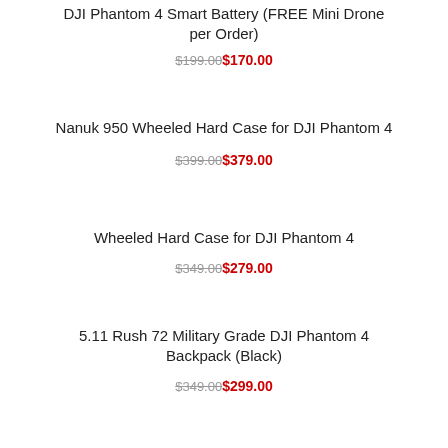DJI Phantom 4 Smart Battery (FREE Mini Drone per Order)
$199.00$170.00
Nanuk 950 Wheeled Hard Case for DJI Phantom 4
$399.00$379.00
Wheeled Hard Case for DJI Phantom 4
$349.00$279.00
5.11 Rush 72 Military Grade DJI Phantom 4 Backpack (Black)
$349.00$299.00